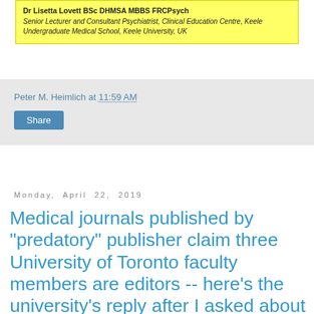Dr Lisetta Lovett BSc DHMSA MBBS FRCPsych
Senior Lecturer and Consultant Psychiatrist, Clinical Education Centre, Keele Undergraduate Medical School, Keele University, UK
Peter M. Heimlich at 11:59 AM
Share
Monday, April 22, 2019
Medical journals published by "predatory" publisher claim three University of Toronto faculty members are editors -- here's the university's reply after I asked about that [UPDATE: The three faculty members names have been removed from the publications' mastheads]